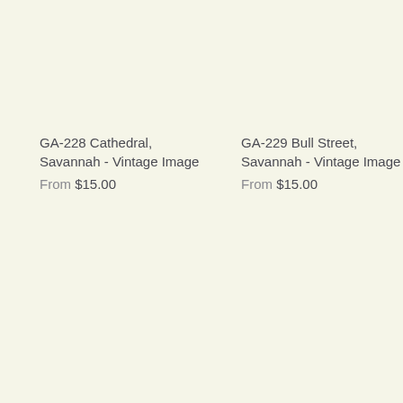GA-228 Cathedral, Savannah - Vintage Image
From $15.00
GA-229 Bull Street, Savannah - Vintage Image
From $15.00